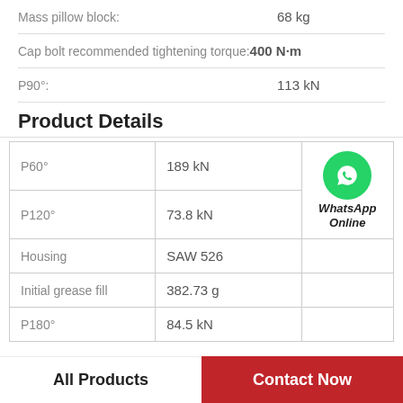Mass pillow block: 68 kg
Cap bolt recommended tightening torque: 400 N·m
P90°: 113 kN
Product Details
|  | Value |  |
| --- | --- | --- |
| P60° | 189 kN | WhatsApp Online |
| P120° | 73.8 kN |  |
| Housing | SAW 526 |  |
| Initial grease fill | 382.73 g |  |
| P180° | 84.5 kN |  |
All Products
Contact Now